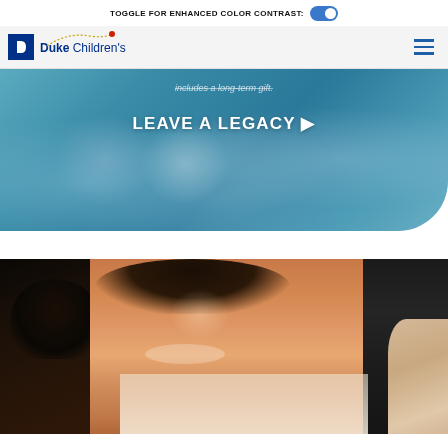TOGGLE FOR ENHANCED COLOR CONTRAST:
[Figure (logo): Duke Children's logo with blue square icon, dotted arc and red dot, and text 'Duke Children's']
includes a long-term gift.
LEAVE A LEGACY ▶
[Figure (photo): Hero background image showing children with stuffed animals, overlaid with blue tint]
[Figure (photo): Bottom photo showing smiling people, including a woman with curly hair in foreground]